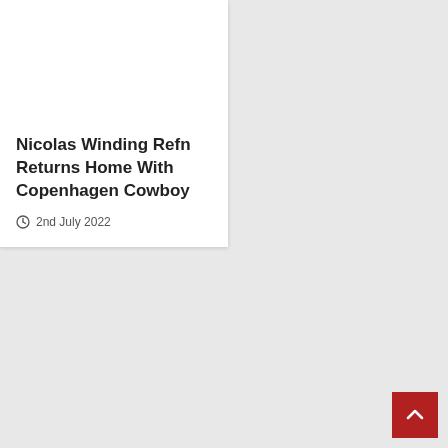[Figure (photo): Photo of Nicolas Winding Refn — person in dark jacket with white shirt, blue background. Tags overlay: Denmark, Drama, TV News]
Nicolas Winding Refn Returns Home With Copenhagen Cowboy
2nd July 2022